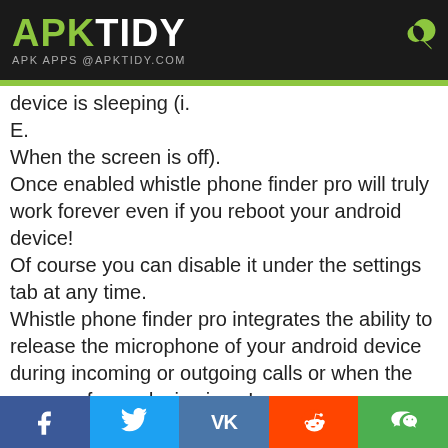APK TIDY — APK APPS @APKTIDY.COM
device is sleeping (i.
E.
When the screen is off).
Once enabled whistle phone finder pro will truly work forever even if you reboot your android device!
Of course you can disable it under the settings tab at any time.
Whistle phone finder pro integrates the ability to release the microphone of your android device during incoming or outgoing calls or when the screen of your device is on!
After a call ends the normal background operation of whistle detection will resume automatically.
It is possible to choose among 5 different whistle detection sensitivity levels!
Whistle phone finder pro is just ready to adapt to any
f  Twitter  VK  Reddit  WeChat